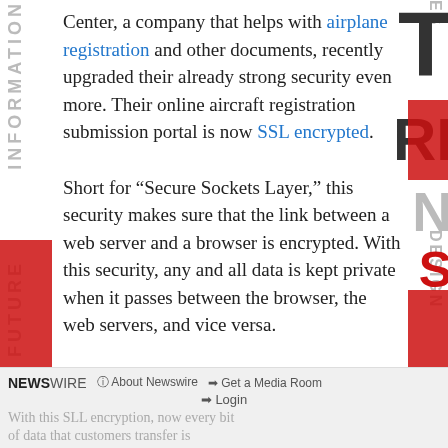Center, a company that helps with airplane registration and other documents, recently upgraded their already strong security even more. Their online aircraft registration submission portal is now SSL encrypted.
Short for “Secure Sockets Layer,” this security makes sure that the link between a web server and a browser is encrypted. With this security, any and all data is kept private when it passes between the browser, the web servers, and vice versa.
NEWSWIRE  About Newswire  Get a Media Room  Login  With this SLL encryption, now every bit of data that customers transfer is...